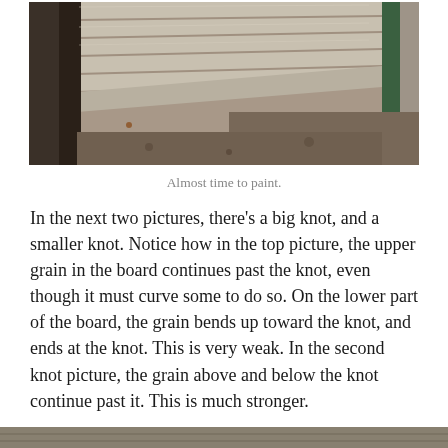[Figure (photo): Close-up photograph of weathered wooden siding/boards on a structure, with dirt and leaves visible on the ground below, and a dark wooden post and green post visible. The boards show horizontal lap siding with natural gray weathered wood tones.]
Almost time to paint.
In the next two pictures, there's a big knot, and a smaller knot. Notice how in the top picture, the upper grain in the board continues past the knot, even though it must curve some to do so. On the lower part of the board, the grain bends up toward the knot, and ends at the knot. This is very weak. In the second knot picture, the grain above and below the knot continue past it. This is much stronger.
[Figure (photo): Partial view of another photograph at the bottom of the page, showing wood grain detail (cropped).]